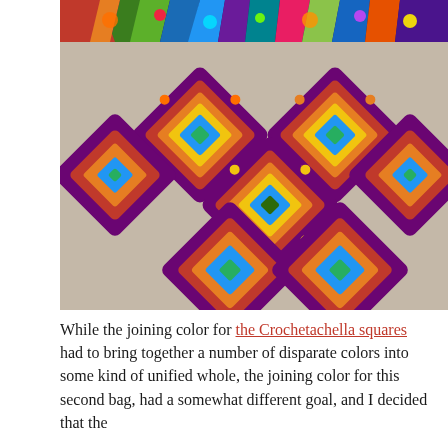[Figure (photo): Photograph of colorful crochet granny squares with sunflower/mandala pattern in purple, orange, red, yellow, blue, and green, arranged on a beige linen background. At the top is a strip of a multicolored crochet project. Below are several square motifs arranged in a pattern, some folded.]
While the joining color for the Crochetachella squares had to bring together a number of disparate colors into some kind of unified whole, the joining color for this second bag, had a somewhat different goal, and I decided that the